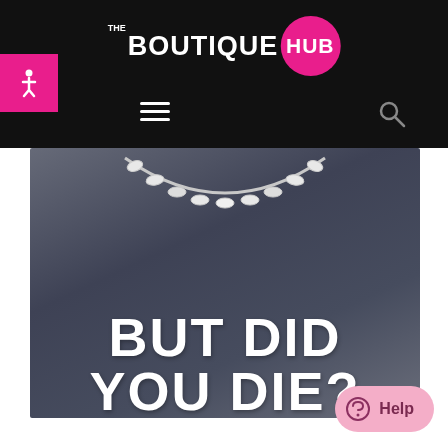THE BOUTIQUE HUB
[Figure (photo): A dark grey heather t-shirt with white bold text reading 'BUT DID YOU DIE?' and a crystal/rhinestone necklace draped over the neckline, laid on a wooden surface background.]
Help